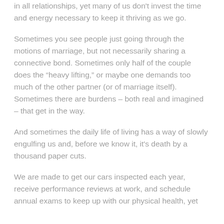in all relationships, yet many of us don't invest the time and energy necessary to keep it thriving as we go.
Sometimes you see people just going through the motions of marriage, but not necessarily sharing a connective bond. Sometimes only half of the couple does the “heavy lifting,” or maybe one demands too much of the other partner (or of marriage itself). Sometimes there are burdens – both real and imagined – that get in the way.
And sometimes the daily life of living has a way of slowly engulfing us and, before we know it, it's death by a thousand paper cuts.
We are made to get our cars inspected each year, receive performance reviews at work, and schedule annual exams to keep up with our physical health, yet